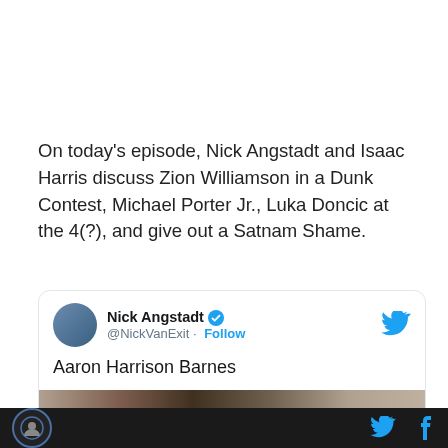On today's episode, Nick Angstadt and Isaac Harris discuss Zion Williamson in a Dunk Contest, Michael Porter Jr., Luka Doncic at the 4(?), and give out a Satnam Shame.
[Figure (screenshot): Embedded tweet card from @NickVanExit (Nick Angstadt, verified) with text 'Aaron Harrison Barnes' and a partial image strip below. Twitter bird logo in top right. Follow link visible.]
[Figure (logo): Website footer bar with site logo (circular badge), Twitter bird icon, and Facebook 'f' icon on dark background.]